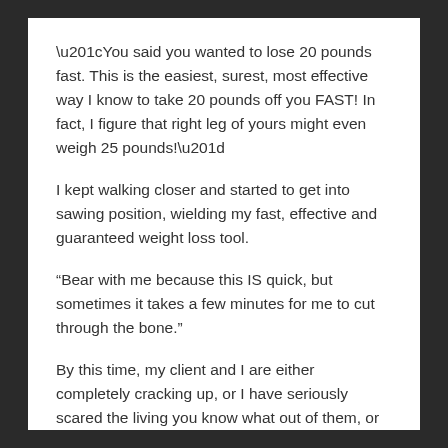“You said you wanted to lose 20 pounds fast. This is the easiest, surest, most effective way I know to take 20 pounds off you FAST! In fact, I figure that right leg of yours might even weigh 25 pounds!”
I kept walking closer and started to get into sawing position, wielding my fast, effective and guaranteed weight loss tool.
“Bear with me because this IS quick, but sometimes it takes a few minutes for me to cut through the bone.”
By this time, my client and I are either completely cracking up, or I have seriously scared the living you know what out of them, or they just think I’m a complete lunatic. (it depends on whether I was able to keep a straight face or not).
Finally, the light bulb goes on, and my client would see where I was going with this: